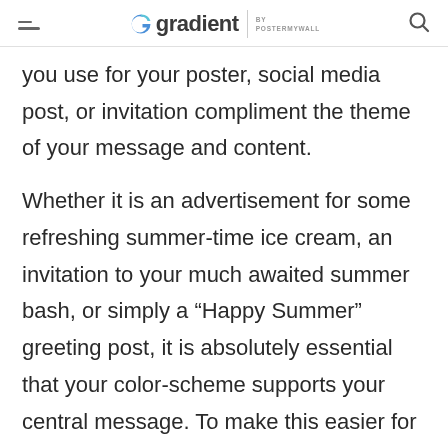gradient BY POSTERMYWALL
you use for your poster, social media post, or invitation compliment the theme of your message and content.
Whether it is an advertisement for some refreshing summer-time ice cream, an invitation to your much awaited summer bash, or simply a “Happy Summer” greeting post, it is absolutely essential that your color-scheme supports your central message. To make this easier for you, we’ve shared a shortlist of three of our favourite color palettes: